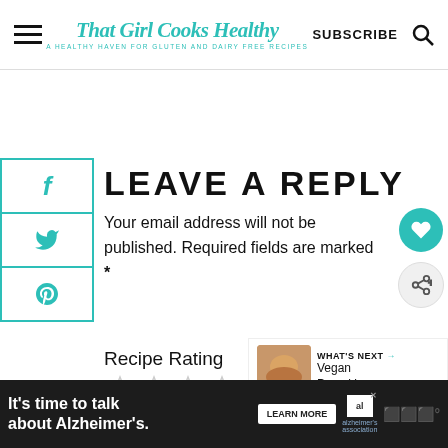That Girl Cooks Healthy — A Healthy Haven for Gluten and Dairy Free Recipes | SUBSCRIBE
LEAVE A REPLY
Your email address will not be published. Required fields are marked *
Recipe Rating
[Figure (other): Five empty star rating icons]
[Figure (infographic): Advertisement bar: It's time to talk about Alzheimer's. LEARN MORE. Alzheimer's Association logo.]